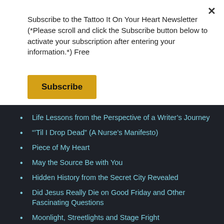Subscribe to the Tattoo It On Your Heart Newsletter (*Please scroll and click the Subscribe button below to activate your subscription after entering your information.*) Free
Subscribe
Life Lessons from the Perspective of a Writer's Journey
“’Til I Drop Dead” (A Nurse’s Manifesto)
Piece of My Heart
May the Source Be with You
Hidden History from the Secret City Revealed
Did Jesus Really Die on Good Friday and Other Fascinating Questions
Moonlight, Streetlights and Stage Fright